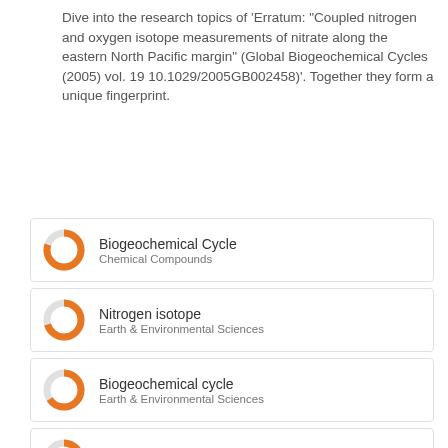Dive into the research topics of 'Erratum: "Coupled nitrogen and oxygen isotope measurements of nitrate along the eastern North Pacific margin" (Global Biogeochemical Cycles (2005) vol. 19 10.1029/2005GB002458)'. Together they form a unique fingerprint.
Biogeochemical Cycle — Chemical Compounds
Nitrogen isotope — Earth & Environmental Sciences
Biogeochemical cycle — Earth & Environmental Sciences
Oxygen isotope — Earth & Environmental Sciences
Nitrate